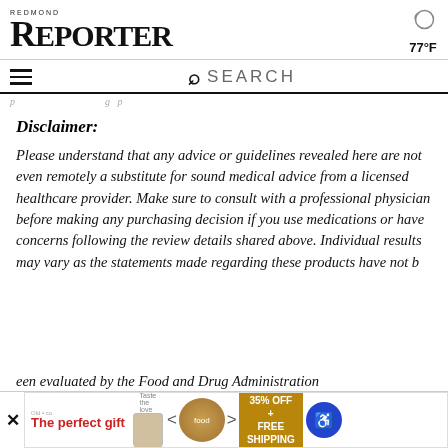REDMOND REPORTER  77°F
SEARCH
[partial text - cut off top]
Disclaimer:
Please understand that any advice or guidelines revealed here are not even remotely a substitute for sound medical advice from a licensed healthcare provider. Make sure to consult with a professional physician before making any purchasing decision if you use medications or have concerns following the review details shared above. Individual results may vary as the statements made regarding these products have not been evaluated by the Food and Drug Administration
[Figure (infographic): Advertisement banner: 'The perfect gift' with food product imagery and '35% OFF + FREE SHIPPING' offer]